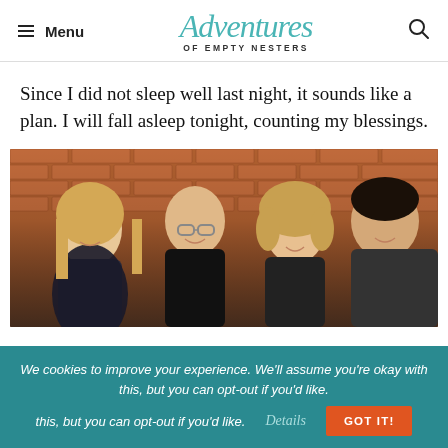Menu | Adventures of Empty Nesters
Since I did not sleep well last night, it sounds like a plan. I will fall asleep tonight, counting my blessings.
[Figure (photo): Family photo of four people smiling in front of a brick wall: a young blonde woman on left, an older bald man with glasses, a woman with curly blonde hair, and a young man on the right]
We cookies to improve your experience. We'll assume you're okay with this, but you can opt-out if you'd like. Details GOT IT!